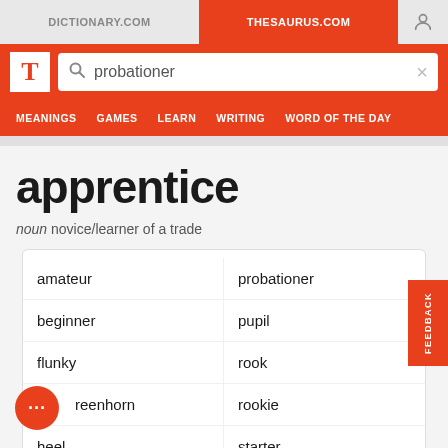DICTIONARY.COM | THESAURUS.COM
[Figure (screenshot): Search bar with magnifying glass icon and text 'probationer', with X close button]
MEANINGS  GAMES  LEARN  WRITING  WORD OF THE DAY
apprentice
noun novice/learner of a trade
amateur
probationer
beginner
pupil
flunky
rook
greenhorn
rookie
heel
starter